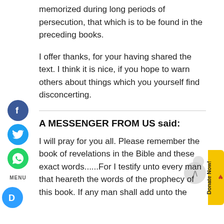memorized during long periods of persecution, that which is to be found in the preceding books.
I offer thanks, for your having shared the text. I think it is nice, if you hope to warn others about things which you yourself find disconcerting.
A MESSENGER FROM US said:
I will pray for you all. Please remember the book of revelations in the Bible and these exact words......For I testify unto every man that heareth the words of the prophecy of this book. If any man shall add unto the